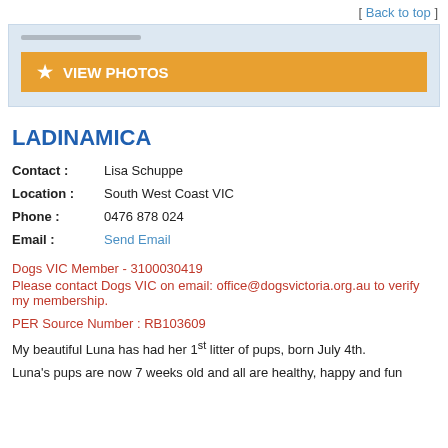[ Back to top ]
[Figure (other): Gray progress/slider bar and orange VIEW PHOTOS button with star icon inside a light blue card]
LADINAMICA
| Contact : | Lisa Schuppe |
| Location : | South West Coast VIC |
| Phone : | 0476 878 024 |
| Email : | Send Email |
Dogs VIC Member - 3100030419
Please contact Dogs VIC on email: office@dogsvictoria.org.au to verify my membership.
PER Source Number : RB103609
My beautiful Luna has had her 1st litter of pups, born July 4th.
Luna's pups are now 7 weeks old and all are healthy, happy and fun